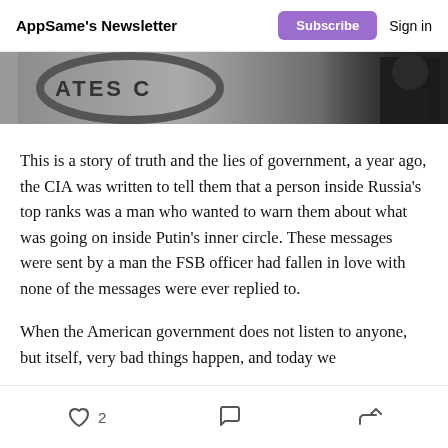AppSame's Newsletter | Subscribe | Sign in
[Figure (photo): Cropped photo showing partial text/signage in background and a person in dark clothing on the right]
This is a story of truth and the lies of government, a year ago, the CIA was written to tell them that a person inside Russia's top ranks was a man who wanted to warn them about what was going on inside Putin's inner circle. These messages were sent by a man the FSB officer had fallen in love with none of the messages were ever replied to.
When the American government does not listen to anyone, but itself, very bad things happen, and today we
2 | comment | share